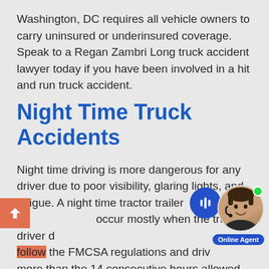Washington, DC requires all vehicle owners to carry uninsured or underinsured coverage. Speak to a Regan Zambri Long truck accident lawyer today if you have been involved in a hit and run truck accident.
Night Time Truck Accidents
Night time driving is more dangerous for any driver due to poor visibility, glaring lights, and fatigue. A night time tractor trailer a occur mostly when the truck driver do follow the FMCSA regulations and driv more than the 14 consecutive hours allowed